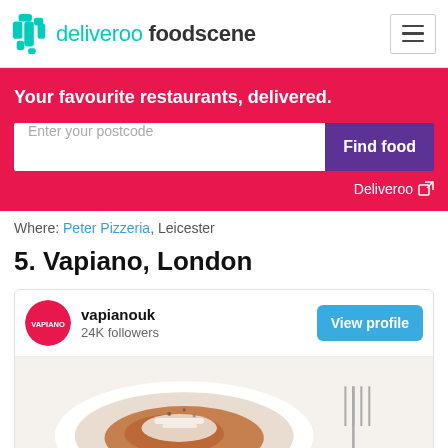deliveroo foodscene
Your favourite restaurants, delivered.
Enter your postcode
Find food
Deliveroo
Where: Peter Pizzeria, Leicester
5. Vapiano, London
vapianouk
24K followers
View profile
[Figure (photo): A white bowl of pasta with tomato sauce topped with shredded parmesan cheese and black pepper, with a fork visible on the right side]